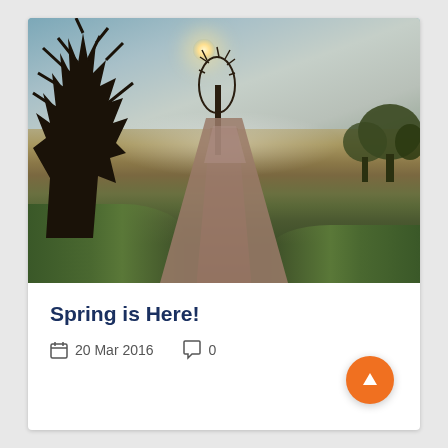[Figure (photo): Outdoor spring landscape photo showing a park path lined with bare trees, green grass on both sides, misty sunlight filtering through branches, open field in background, HDR-style photography]
Spring is Here!
20 Mar 2016   0